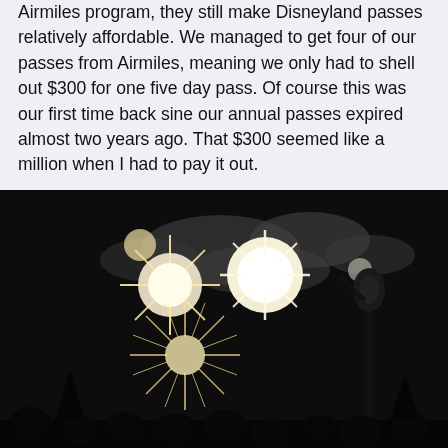Airmiles program, they still make Disneyland passes relatively affordable. We managed to get four of our passes from Airmiles, meaning we only had to shell out $300 for one five day pass. Of course this was our first time back sine our annual passes expired almost two years ago. That $300 seemed like a million when I had to pay it out.
[Figure (photo): Night photo of fireworks exploding in a dark sky above a silhouetted crowd and a lamp post. Multiple large white and golden firework bursts are visible with smoke clouds.]